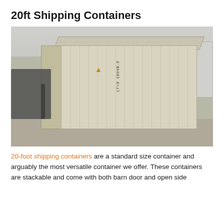20ft Shipping Containers
[Figure (photo): Photo of a beige/tan 20-foot shipping container in a yard, with a forklift on the left side and other white containers in the background. The container has corrugated steel sides and a warning triangle label. Container ID visible on the side.]
20-foot shipping containers are a standard size container and arguably the most versatile container we offer. These containers are stackable and come with both barn door and open side